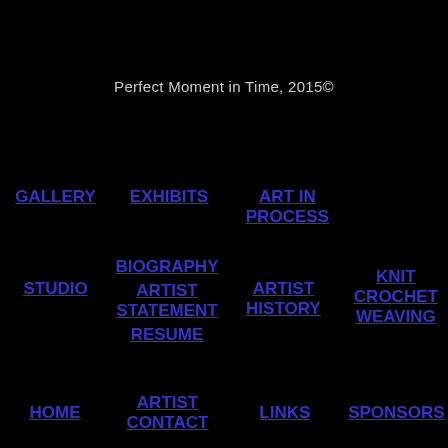Perfect Moment in Time, 2015©
GALLERY
EXHIBITS
ART IN PROCESS
STUDIO
BIOGRAPHY
ARTIST STATEMENT
RESUME
ARTIST HISTORY
KNIT CROCHET WEAVING
HOME
ARTIST CONTACT
LINKS
SPONSORS